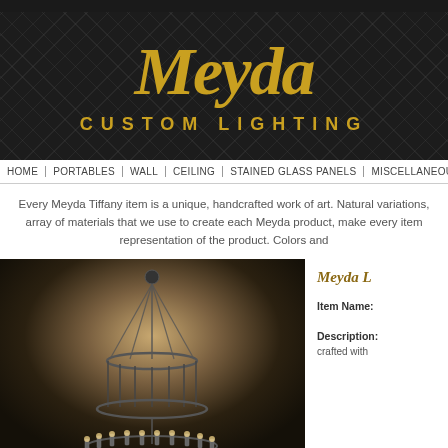[Figure (logo): Meyda Custom Lighting logo — gold script 'Meyda' above gold serif text 'CUSTOM LIGHTING' on dark background with diamond pattern]
HOME | PORTABLES | WALL | CEILING | STAINED GLASS PANELS | MISCELLANEOUS
Every Meyda Tiffany item is a unique, handcrafted work of art. Natural variations, array of materials that we use to create each Meyda product, make every item representation of the product. Colors and
[Figure (photo): Photograph of a large elegant chandelier with multiple candelabra-style lights arranged in a circular tier, hanging from chains against a warm gradient background]
Meyda L
Item Name:
Description: crafted with